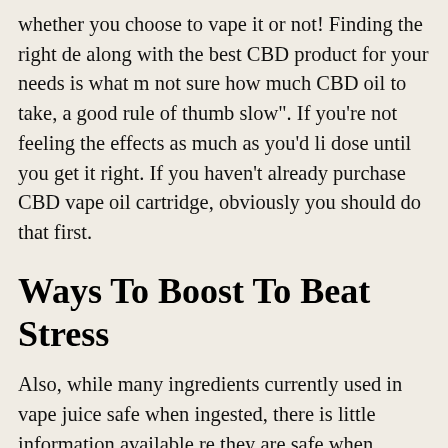whether you choose to vape it or not! Finding the right de along with the best CBD product for your needs is what m not sure how much CBD oil to take, a good rule of thumb slow". If you're not feeling the effects as much as you'd li dose until you get it right. If you haven't already purchase CBD vape oil cartridge, obviously you should do that first.
Ways To Boost To Beat Stress
Also, while many ingredients currently used in vape juice safe when ingested, there is little information available re they are safe when inhaled. Be sure to investigate the ing vape oil before use. Always source the highest quality CBD reputable company. However, it is conceivable that the sa largely depends on the ingredients other than CBD in the CBD vape cartridge containing 100 mg of CBD delivers abo each puff. If you're using a CBD vape pen or tank, you'll b more CBD per puff, depending on your device and the str vape juice.